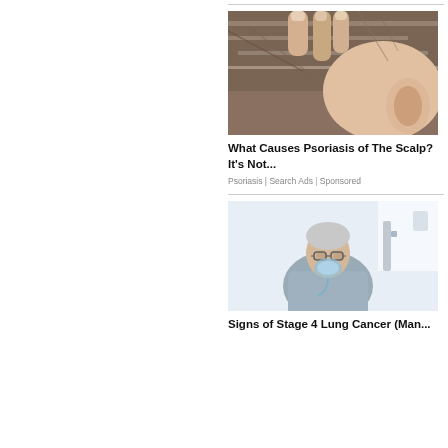[Figure (photo): Close-up photo of a person's scalp being examined, hands parting gray hair near the ear area]
What Causes Psoriasis of The Scalp? It's Not...
Psoriasis | Search Ads | Sponsored
[Figure (photo): Photo of an elderly man wearing glasses and an oxygen mask, seated in a medical setting]
Signs of Stage 4 Lung Cancer (Man...